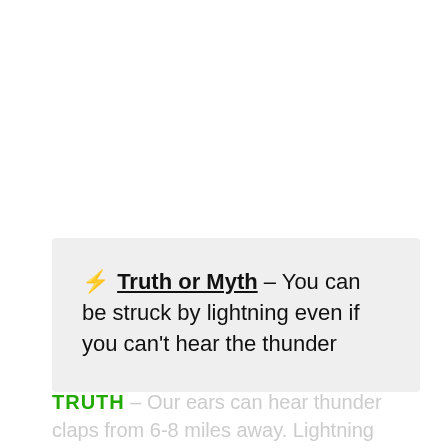⚡ Truth or Myth – You can be struck by lightning even if you can't hear the thunder
TRUTH – Our ears can hear thunder claps from 6-8 miles away. Lightning strikes can